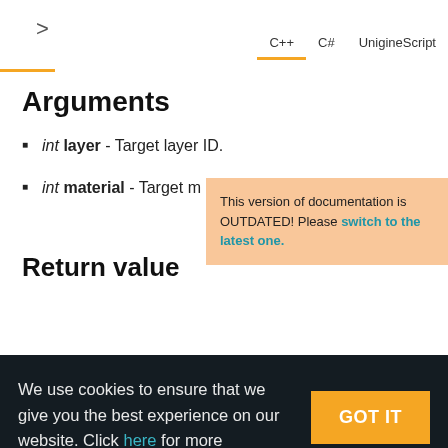C++ C# UnigineScript
Arguments
int layer - Target layer ID.
int material - Target ma...
This version of documentation is OUTDATED! Please switch to the latest one.
Return value
We use cookies to ensure that we give you the best experience on our website. Click here for more information.